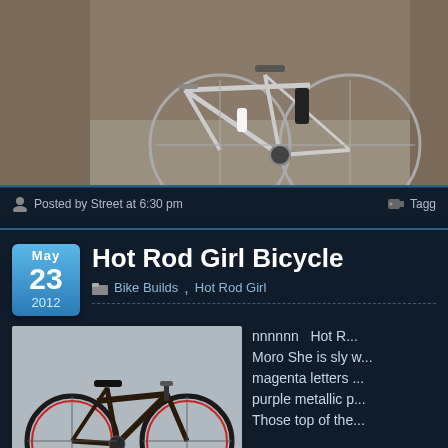[Figure (photo): Silver mountain/hybrid bicycle leaning against a brick wall on cobblestone pavement, with a water bottle and black battery/bag mounted on the frame]
Posted by Street at 6:30 pm
Tagg
Hot Rod Girl Bicycle
Bike Builds, Hot Rod Girl
[Figure (photo): Dark brown/black vintage-style road bicycle with red-accent tires, photographed against a light background]
nnnnnn  Hot R... Moro She is sly w... magenta letters ... purple metallic p... Those top of the...